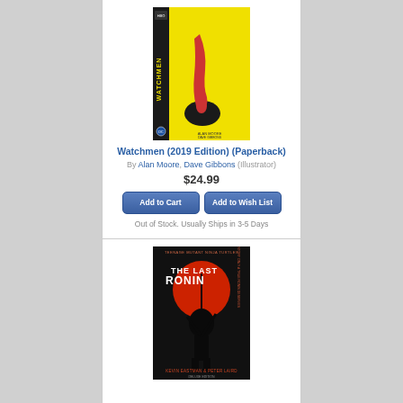[Figure (illustration): Watchmen 2019 Edition paperback book cover - yellow background with dripping blood and smiley face button]
Watchmen (2019 Edition) (Paperback)
By Alan Moore, Dave Gibbons (Illustrator)
$24.99
Add to Cart
Add to Wish List
Out of Stock. Usually Ships in 3-5 Days
[Figure (illustration): The Last Ronin book cover - dark background with ninja warrior silhouette and red moon]